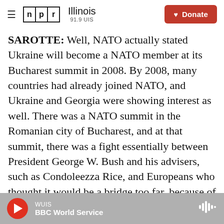NPR Illinois 91.9 UIS — Donate
SAROTTE: Well, NATO actually stated Ukraine will become a NATO member at its Bucharest summit in 2008. By 2008, many countries had already joined NATO, and Ukraine and Georgia were showing interest as well. There was a NATO summit in the Romanian city of Bucharest, and at that summit, there was a fight essentially between President George W. Bush and his advisers, such as Condoleezza Rice, and Europeans who thought it would be a bridge too far, because of the friction with Moscow, to put Ukraine and Georgia into NATO. And so what resulted was a compromise, which was unfortunately the worst of all possible
WUIS — BBC World Service